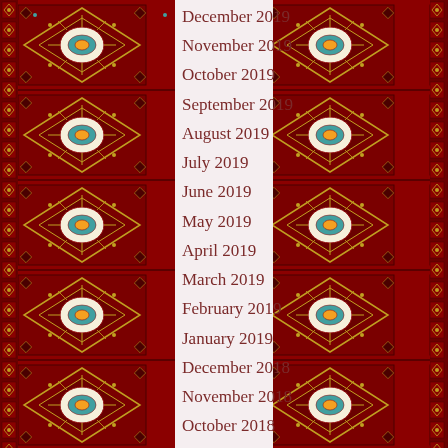[Figure (illustration): Decorative oriental/Persian rug border pattern on left side with red background, geometric and floral medallion designs in dark red, cream, teal, and orange colors]
December 2019
November 2019
October 2019
September 2019
August 2019
July 2019
June 2019
May 2019
April 2019
March 2019
February 2019
January 2019
December 2018
November 2018
October 2018
September 2018
August 2018
July 2018
June 2018
May 2018
April 2018
March 2018
February 2018
January 2018
[Figure (illustration): Decorative oriental/Persian rug border pattern on right side with red background, geometric and floral medallion designs in dark red, cream, teal, and orange colors]